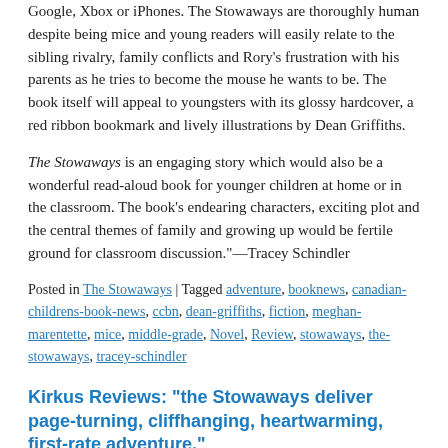Google, Xbox or iPhones. The Stowaways are thoroughly human despite being mice and young readers will easily relate to the sibling rivalry, family conflicts and Rory's frustration with his parents as he tries to become the mouse he wants to be. The book itself will appeal to youngsters with its glossy hardcover, a red ribbon bookmark and lively illustrations by Dean Griffiths.
The Stowaways is an engaging story which would also be a wonderful read-aloud book for younger children at home or in the classroom. The book's endearing characters, exciting plot and the central themes of family and growing up would be fertile ground for classroom discussion."—Tracey Schindler
Posted in The Stowaways | Tagged adventure, booknews, canadian-childrens-book-news, ccbn, dean-griffiths, fiction, meghan-marentette, mice, middle-grade, Novel, Review, stowaways, the-stowaways, tracey-schindler
Kirkus Reviews: “the Stowaways deliver page-turning, cliffhanging, heartwarming, first-rate adventure.”
Posted on January 29th, 2014 by pajamapress
[Figure (other): Book cover image placeholder labeled TheStoraways_C_July14.indd]
“An adventure-seeking